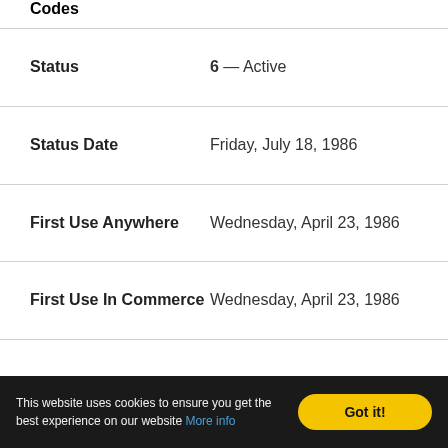Codes
| Field | Value |
| --- | --- |
| Status | 6 — Active |
| Status Date | Friday, July 18, 1986 |
| First Use Anywhere | Wednesday, April 23, 1986 |
| First Use In Commerce | Wednesday, April 23, 1986 |
This website uses cookies to ensure you get the best experience on our website More info  Got it!